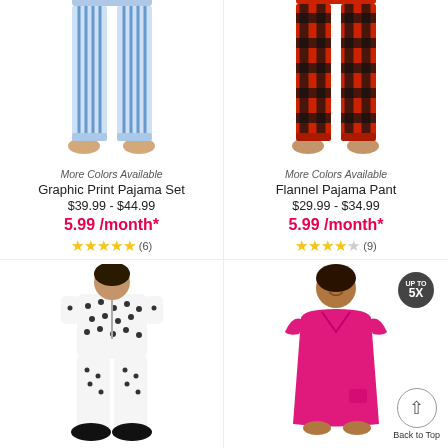[Figure (photo): Blue striped pajama pants on a person, cropped at waist to feet]
More Colors Available
Graphic Print Pajama Set
$39.99 - $44.99
5.99 /month*
★★★★★ (6)
[Figure (photo): Red and black buffalo plaid flannel pajama pants on a person, cropped at waist to feet]
More Colors Available
Flannel Pajama Pant
$29.99 - $34.99
5.99 /month*
★★★★☆ (9)
[Figure (photo): Woman wearing white and black polka dot pajama set with short sleeves, wide leg pants, and black fuzzy slippers]
[Figure (photo): Woman in hot pink short sleeve v-neck sleep shirt/dress smiling]